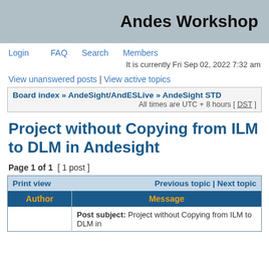Andes Workshop
Login   FAQ   Search   Members
It is currently Fri Sep 02, 2022 7:32 am
View unanswered posts | View active topics
Board index » AndeSight/AndESLive » AndeSight STD
All times are UTC + 8 hours [ DST ]
Project without Copying from ILM to DLM in Andesight
Page 1 of 1  [ 1 post ]
| Print view | Previous topic | Next topic |
| --- | --- |
| Author | Message |
|  | Post subject: Project without Copying from ILM to DLM in |